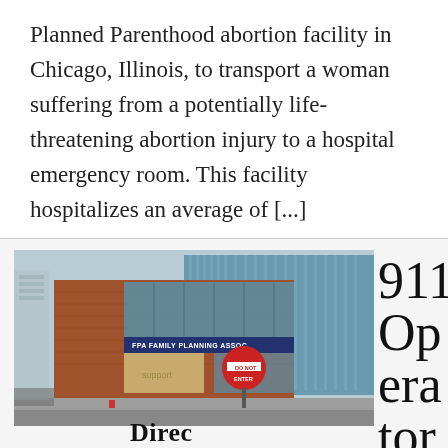Planned Parenthood abortion facility in Chicago, Illinois, to transport a woman suffering from a potentially life-threatening abortion injury to a hospital emergency room. This facility hospitalizes an average of [...]
[Figure (photo): Exterior photo of a brick building with large glass windows. A sign reading 'FPA FAMILY PLANNING ASSOC' is visible. A 'DO NOT ENTER' road sign is in the foreground.]
911 Operator Ref
Directed